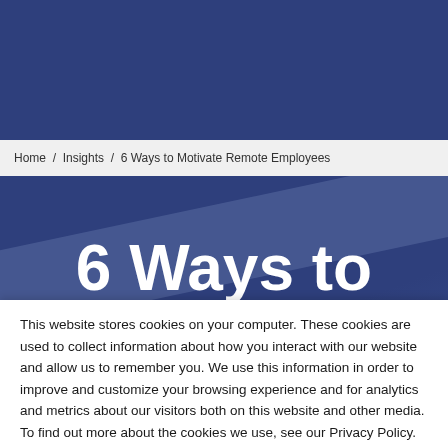Home / Insights / 6 Ways to Motivate Remote Employees
[Figure (photo): Dark blue hero banner with diagonal light stripe and large white bold text reading '6 Ways to' with partially visible text below]
6 Ways to
This website stores cookies on your computer. These cookies are used to collect information about how you interact with our website and allow us to remember you. We use this information in order to improve and customize your browsing experience and for analytics and metrics about our visitors both on this website and other media. To find out more about the cookies we use, see our Privacy Policy.
Accept